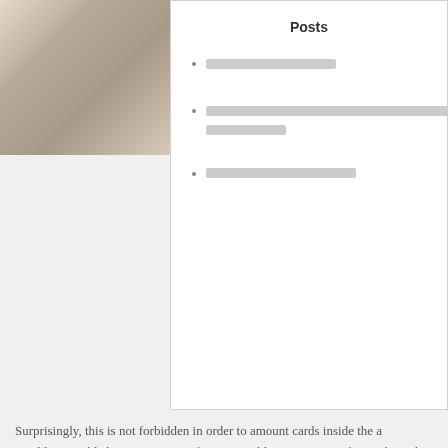[Figure (photo): Close-up photo of hands, pinkish/neutral tones, top-left corner]
Posts
[redacted link text]
[redacted link text - longer, two lines]
[redacted link text]
Surprisingly, this is not forbidden in order to amount cards inside the a gambling establishment. Yet not, of many gambling enterprises frown through to the new behavior, and can tend to exclude people it believe becoming using including possibilities to try and obtain an advantage along side home. That is all of our first black-jack online game and you will trainer and you will I'm satisfied so you can finally add our very own type 2 having enhanced image plus the capability to know how to amount notes on my site. If you make a smaller enjoy, the overall game usually warn you initially. I suggest you to definitely one which just wager a real income one another on line individually which you routine on the game if you don't really